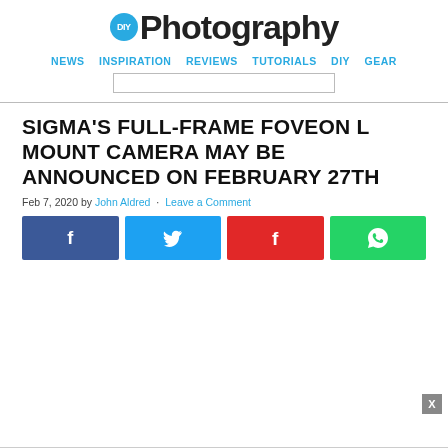DIY Photography
NEWS · INSPIRATION · REVIEWS · TUTORIALS · DIY · GEAR
SIGMA'S FULL-FRAME FOVEON L MOUNT CAMERA MAY BE ANNOUNCED ON FEBRUARY 27TH
Feb 7, 2020 by John Aldred · Leave a Comment
[Figure (infographic): Social share buttons: Facebook, Twitter, Flipboard, WhatsApp]